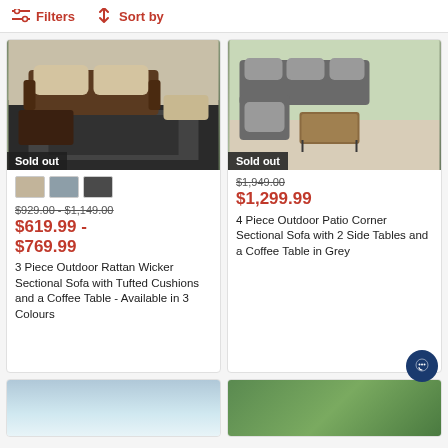Filters   Sort by
[Figure (photo): Outdoor rattan wicker sectional sofa set with beige cushions on a black and white geometric rug, with 'Sold out' badge]
$929.00 - $1,149.00 (strikethrough)
$619.99 - $769.99
3 Piece Outdoor Rattan Wicker Sectional Sofa with Tufted Cushions and a Coffee Table - Available in 3 Colours
[Figure (photo): Grey outdoor corner sectional sofa set with wooden coffee table and metal frame, with 'Sold out' badge]
$1,949.00 (strikethrough)
$1,299.99
4 Piece Outdoor Patio Corner Sectional Sofa with 2 Side Tables and a Coffee Table in Grey
[Figure (photo): Partially visible product image at bottom left — appears to be outdoor furniture with water/landscape background]
[Figure (photo): Partially visible product image at bottom right — appears to be outdoor furniture with green garden background]